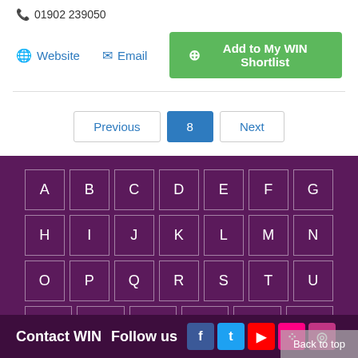📞 01902 239050
🌐 Website   ✉ Email   ⊕ Add to My WIN Shortlist
Previous  8  Next
[Figure (other): Alphabet navigation grid on purple background with letters A-Z and 0-9]
Contact WIN  Follow us  [social icons: Facebook, Twitter, YouTube, Flickr, Instagram]  Back to top